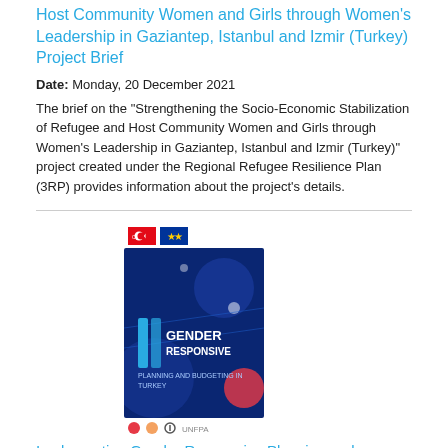Host Community Women and Girls through Women's Leadership in Gaziantep, Istanbul and Izmir (Turkey) Project Brief
Date: Monday, 20 December 2021
The brief on the "Strengthening the Socio-Economic Stabilization of Refugee and Host Community Women and Girls through Women's Leadership in Gaziantep, Istanbul and Izmir (Turkey)" project created under the Regional Refugee Resilience Plan (3RP) provides information about the project's details.
[Figure (photo): Cover of Gender Responsive Planning and Budgeting in Turkey publication, dark blue background with geometric design. Flags and logos shown above and below.]
Implementing Gender Responsive Planning and Budgeting in Turkey flyer
Date: Thursday, 16 December 2021
"Implementing Gender-Responsive Planning and Budgeting in Turkey" project aims to empower women and further strengthen